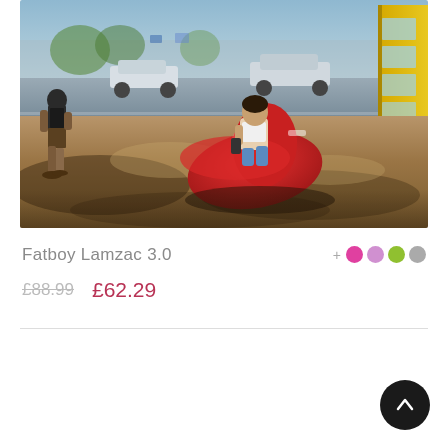[Figure (photo): Outdoor street scene with a person relaxing in a red inflatable Fatboy Lamzac chair on a sandy/dirt surface near a yellow bus, with another person walking on the left side]
Fatboy Lamzac 3.0
£88.99  £62.29